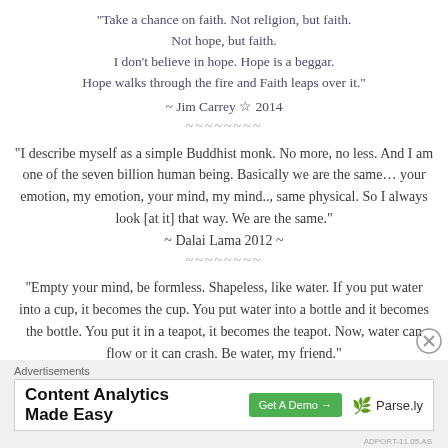“Take a chance on faith. Not religion, but faith. Not hope, but faith. I don’t believe in hope. Hope is a beggar. Hope walks through the fire and Faith leaps over it.”
~ Jim Carrey ☆ 2014
~~~~~~~~
“I describe myself as a simple Buddhist monk. No more, no less. And I am one of the seven billion human being. Basically we are the same… your emotion, my emotion, your mind, my mind.., same physical. So I always look [at it] that way. We are the same.”
~ Dalai Lama 2012 ~
~~~~~~~~
"Empty your mind, be formless. Shapeless, like water. If you put water into a cup, it becomes the cup. You put water into a bottle and it becomes the bottle. You put it in a teapot, it becomes the teapot. Now, water can flow or it can crash. Be water, my friend."
Advertisements
[Figure (infographic): Advertisement banner: Content Analytics Made Easy, Get A Demo button, Parse.ly logo]